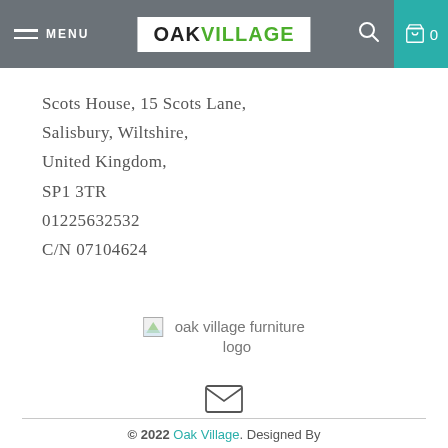MENU | OAK VILLAGE | 0
Scots House, 15 Scots Lane,
Salisbury, Wiltshire,
United Kingdom,
SP1 3TR
01225632532
C/N 07104624
[Figure (logo): Oak Village furniture logo placeholder image]
[Figure (other): Email envelope icon]
© 2022 Oak Village. Designed By Kevactive media